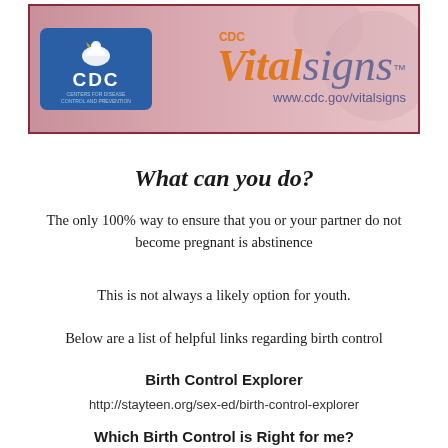[Figure (logo): CDC Vital Signs header banner with CDC eagle logo on blue background on the left, and 'CDC Vital Signs' branding in orange and purple with website www.cdc.gov/vitalsigns on pink/mauve background on the right]
What can you do?
The only 100% way to ensure that you or your partner do not become pregnant is abstinence
This is not always a likely option for youth.
Below are a list of helpful links regarding birth control
Birth Control Explorer
http://stayteen.org/sex-ed/birth-control-explorer
Which Birth Control is Right for me?